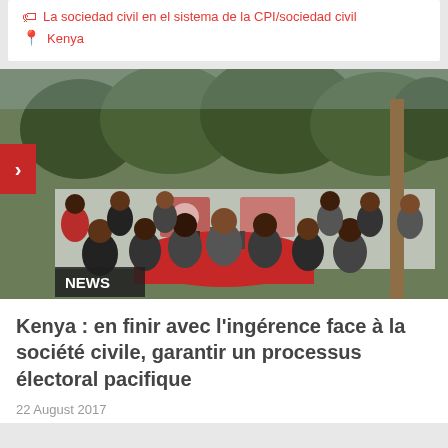La sociedad civil en el sistema de la CPI/sociedad civil
Kenya
[Figure (photo): Group of people seated and standing outdoors at a press conference around a red-clothed round table with microphones. Banner signs visible in background. NEWS label at bottom left.]
Kenya : en finir avec l'ingérence face à la société civile, garantir un processus électoral pacifique
22 August 2017